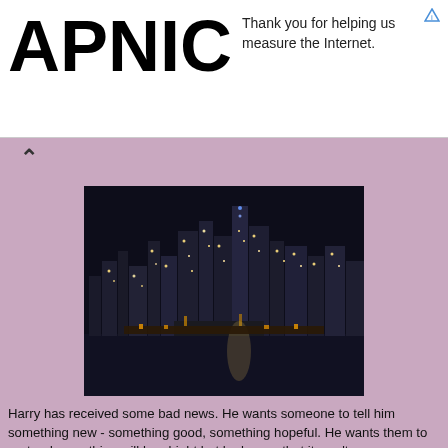APNIC — Thank you for helping us measure the Internet.
[Figure (photo): Night cityscape photo showing a city skyline (New York City) reflected in water at night, with illuminated skyscrapers.]
Harry has received some bad news. He wants someone to tell him something new - something good, something hopeful. He wants them to pretend everything will be alright but he knows that it won't.
Brooklyn saw me, empty at the news
There's no water inside this swimming pool
Almost over, had enough from you
And I've been praying, I never did before
Understand I'm talking to the walls